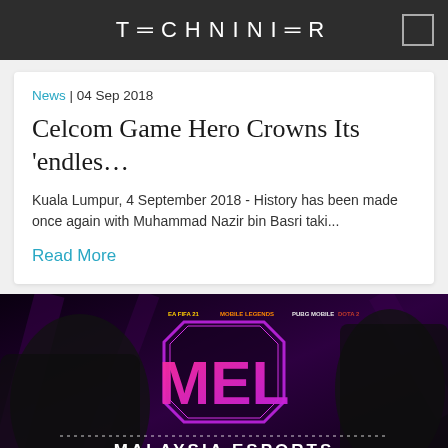TECHNINIER
News | 04 Sep 2018
Celcom Game Hero Crowns Its 'endles…
Kuala Lumpur, 4 September 2018 - History has been made once again with Muhammad Nazir bin Basri taki...
Read More
[Figure (photo): Malaysia Esports League 2021 promotional banner featuring game characters, MEL logo in pink/purple, and game titles including FIFA 21, Mobile Legends, PUBG Mobile, and Dota 2]